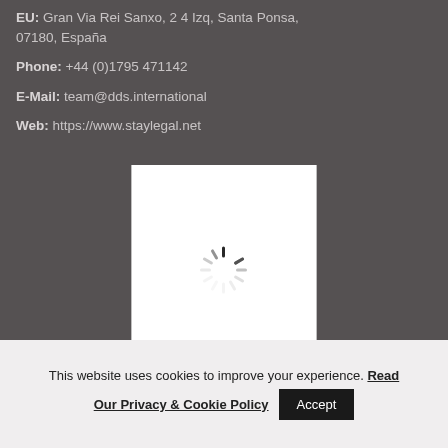EU: Gran Via Rei Sanxo, 2 4 Izq, Santa Ponsa, 07180, España
Phone: +44 (0)1795 471142
E-Mail: team@dds.international
Web: https://www.staylegal.net
[Figure (other): Loading spinner (animated loading icon) on white background]
This website uses cookies to improve your experience. Read Our Privacy & Cookie Policy Accept